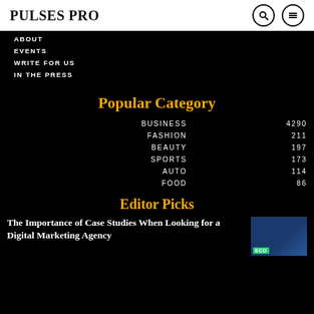PULSES PRO
ABOUT
EVENTS
WRITE FOR US
IN THE PRESS
Popular Category
| Category | Count |
| --- | --- |
| BUSINESS | 4290 |
| FASHION | 211 |
| BEAUTY | 197 |
| SPORTS | 173 |
| AUTO | 114 |
| FOOD | 86 |
Editor Picks
The Importance of Case Studies When Looking for a Digital Marketing Agency